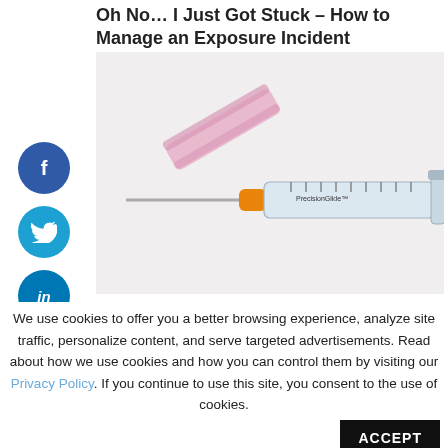Oh No… I Just Got Stuck – How to Manage an Exposure Incident
[Figure (photo): A medical syringe with an orange hub and pink/purple needle cap lying on a white background. The syringe barrel shows measurement markings.]
We use cookies to offer you a better browsing experience, analyze site traffic, personalize content, and serve targeted advertisements. Read about how we use cookies and how you can control them by visiting our Privacy Policy. If you continue to use this site, you consent to the use of cookies.